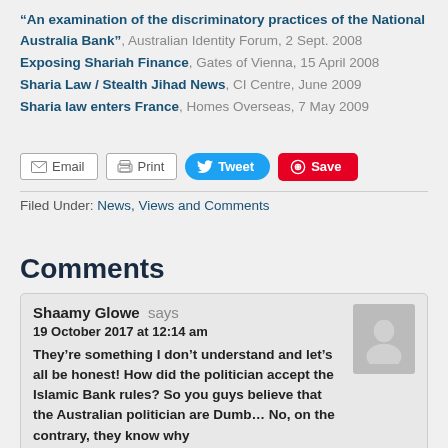“An examination of the discriminatory practices of the National Australia Bank”, Australian Identity Forum, 2 Sept. 2008
Exposing Shariah Finance, Gates of Vienna, 15 April 2008
Sharia Law / Stealth Jihad News, CI Centre, June 2009
Sharia law enters France, Homes Overseas, 7 May 2009
Email  Print  Tweet  Save
Filed Under: News, Views and Comments
Comments
Shaamy Glowe says
19 October 2017 at 12:14 am
They’re something I don’t understand and let’s all be honest! How did the politician accept the Islamic Bank rules? So you guys believe that the Australian politician are Dumb… No, on the contrary, they know why